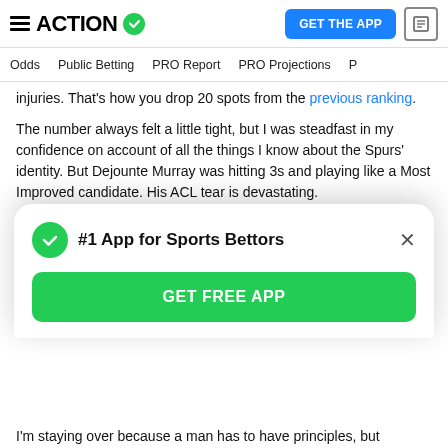ACTION [logo with checkmark]
Odds  Public Betting  PRO Report  PRO Projections  P...
injuries. That's how you drop 20 spots from the previous ranking.
The number always felt a little tight, but I was steadfast in my confidence on account of all the things I know about the Spurs' identity. But Dejounte Murray was hitting 3s and playing like a Most Improved candidate. His ACL tear is devastating.
No worries, Lonnie Walker can help boost the offense … wait, no, he's out. OK, but Derrick White has been all the talk of the offseason and could really step up. None, out 6
[Figure (other): Modal popup: #1 App for Sports Bettors with GET FREE APP green button]
I'm staying over because a man has to have principles, but